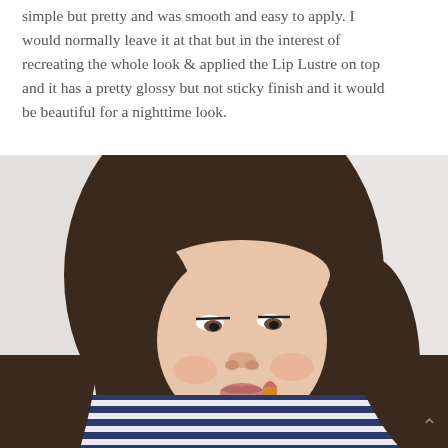simple but pretty and was smooth and easy to apply. I would normally leave it at that but in the interest of recreating the whole look & applied the Lip Lustre on top and it has a pretty glossy but not sticky finish and it would be beautiful for a nighttime look.
[Figure (photo): A young woman with dark brown hair and bangs, wearing a navy and white striped top, applying lipstick or lip product (in a wooden/orange case) to her lips. She is looking down toward her lips. The background is white/light grey.]